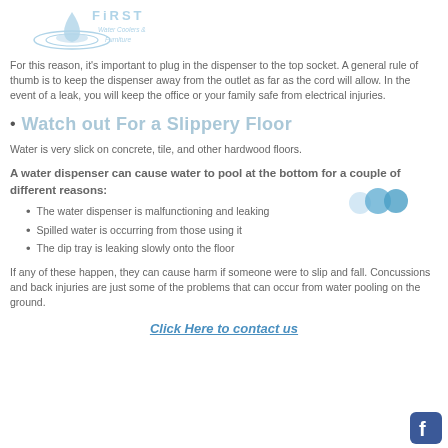[Figure (logo): First Water Coolers & Furniture logo with water droplet graphic]
For this reason, it's important to plug in the dispenser to the top socket. A general rule of thumb is to keep the dispenser away from the outlet as far as the cord will allow. In the event of a leak, you will keep the office or your family safe from electrical injuries.
Watch out For a Slippery Floor
Water is very slick on concrete, tile, and other hardwood floors.
A water dispenser can cause water to pool at the bottom for a couple of different reasons:
The water dispenser is malfunctioning and leaking
Spilled water is occurring from those using it
The dip tray is leaking slowly onto the floor
If any of these happen, they can cause harm if someone were to slip and fall. Concussions and back injuries are just some of the problems that can occur from water pooling on the ground.
Click Here to contact us